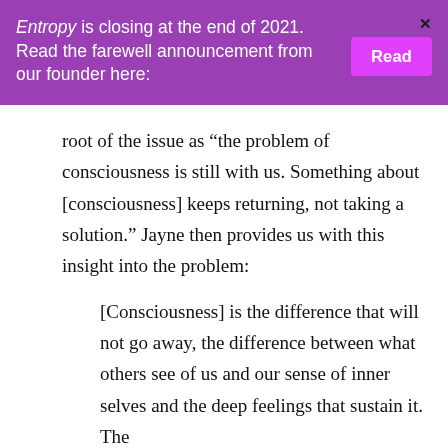Entropy is closing at the end of 2021. Read the farewell announcement from our founder here:
root of the issue as “the problem of consciousness is still with us. Something about [consciousness] keeps returning, not taking a solution.” Jayne then provides us with this insight into the problem:
[Consciousness] is the difference that will not go away, the difference between what others see of us and our sense of inner selves and the deep feelings that sustain it. The